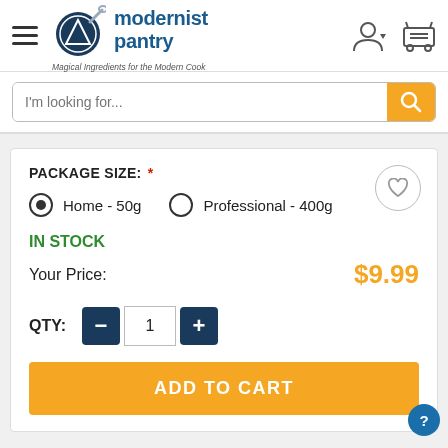[Figure (logo): Modernist Pantry logo with frying pan icon and tagline 'Magical Ingredients for the Modern Cook']
I'm looking for...
PACKAGE SIZE: *
Home - 50g  Professional - 400g
IN STOCK
Your Price:  $9.99
QTY: − 1 +
ADD TO CART